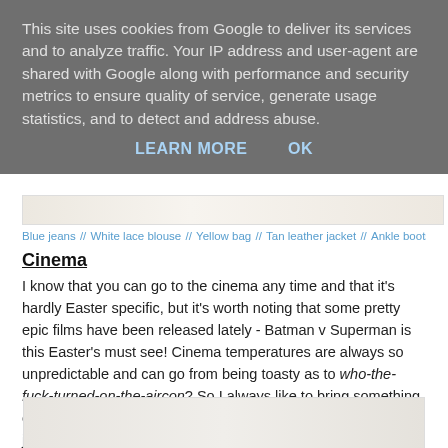This site uses cookies from Google to deliver its services and to analyze traffic. Your IP address and user-agent are shared with Google along with performance and security metrics to ensure quality of service, generate usage statistics, and to detect and address abuse.
LEARN MORE   OK
Blue jeans // White lace blouse // Yellow bag // Tan leather jacket // Ankle boots // Sunglasses
Cinema
I know that you can go to the cinema any time and that it's hardly Easter specific, but it's worth noting that some pretty epic films have been released lately - Batman v Superman is this Easter's must see! Cinema temperatures are always so unpredictable and can go from being toasty as to who-the-fuck-turned-on-the-aircon? So I always like to bring something cosy with me like a blanket cape or a scarf. A fluffy faux fur jacket will work equally well here.